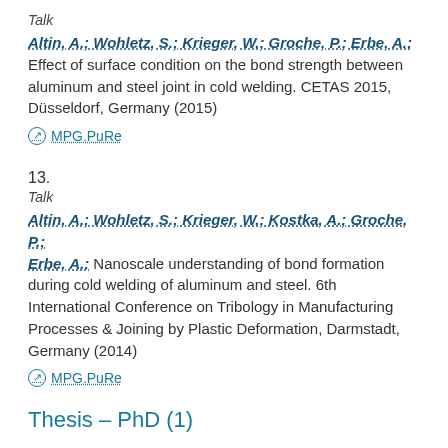Talk
Altin, A.; Wohletz, S.; Krieger, W.; Groche, P.; Erbe, A.: Effect of surface condition on the bond strength between aluminum and steel joint in cold welding. CETAS 2015, Düsseldorf, Germany (2015)
MPG.PuRe
13.
Talk
Altin, A.; Wohletz, S.; Krieger, W.; Kostka, A.; Groche, P.; Erbe, A.: Nanoscale understanding of bond formation during cold welding of aluminum and steel. 6th International Conference on Tribology in Manufacturing Processes & Joining by Plastic Deformation, Darmstadt, Germany (2014)
MPG.PuRe
Thesis – PhD (1)